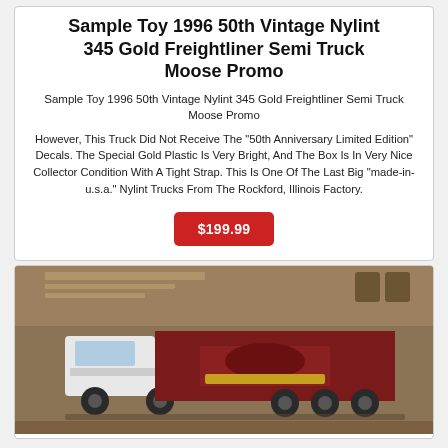Sample Toy 1996 50th Vintage Nylint 345 Gold Freightliner Semi Truck Moose Promo
Sample Toy 1996 50th Vintage Nylint 345 Gold Freightliner Semi Truck Moose Promo
However, This Truck Did Not Receive The "50th Anniversary Limited Edition" Decals. The Special Gold Plastic Is Very Bright, And The Box Is In Very Nice Collector Condition With A Tight Strap. This Is One Of The Last Big "made-in-u.s.a." Nylint Trucks From The Rockford, Illinois Factory.
$199.99
[Figure (photo): Photo of a Nylint Freightliner semi truck toy in its box, showing a white cab and dark red/maroon trailer with gold logo, displayed against a brown cardboard box background.]